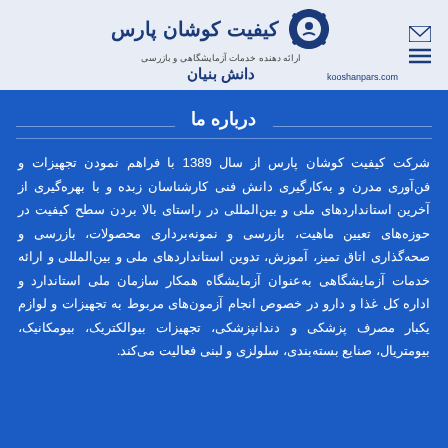کیفیت کوشان پارس — ارائه دهنده خدمات آزمایشگاهی و بازرسی — دانش بنیان — kooshanpars.com
درباره ما
شرکت کیفیت کوشان پارس از سال 1389 با فراهم نمودن تجهیزات و فن‌آوری مدرن و به‌کارگیری دانش فنی کارشناسان زبده و با بهره‌گیری از آخرین استانداردهای ملی و بین‌المللی در راستای بالا بردن سطح کیفیت در حوزه‌های تعیین ماهیت، بازرسی و نمونه‌برداری محصولات، بازرسی و صحه‌گذاری اتاق تمیز، آموزش، تدوین استانداردهای ملی و بین‌المللی و ارائه خدمات آزمایشگاهی به‌عنوان آزمایشگاه همکار سازمان ملی استاندارد و اداره کل غذا و دارو در خصوص انجام آزمون‌های مربوط به تجهیزات و لوازم یکبار مصرف پزشکی و دندانپزشکی، تجهیزات بیوالکتریک، بیومکانیک، بیومتریال، صنایع بسته‌بندی، سلولزی و لبنی فعالیت می‌کند.